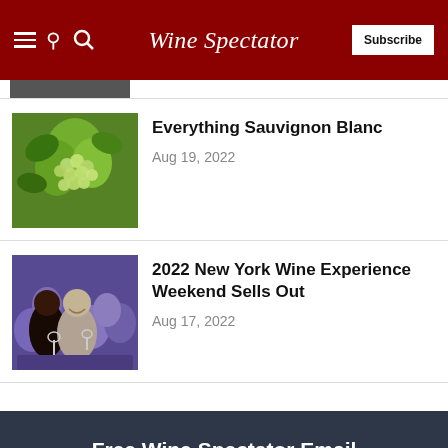Wine Spectator — Subscribe
[Figure (photo): Thumbnail image partially visible at top of page]
[Figure (photo): Green grapes hanging on vine with leaves, outdoors]
Everything Sauvignon Blanc
Aug 19, 2022
[Figure (photo): People at a wine event, smiling and holding wine glasses]
2022 New York Wine Experience Weekend Sells Out
Aug 17, 2022
Free Wine Spectator Email Newsletters